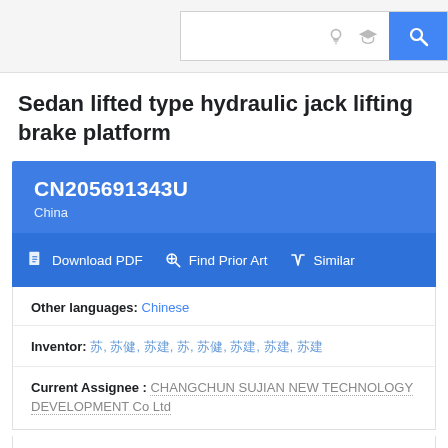Search bar with icons
Sedan lifted type hydraulic jack lifting brake platform
CN205691343U
China
Download PDF  Find Prior Art  Similar
Other languages: Chinese
Inventor: 苏, 苏健, 苏建国, 苏, 苏建国, 苏建国, 苏建国, 苏建国
Current Assignee : CHANGCHUN SUJIAN NEW TECHNOLOGY DEVELOPMENT Co Ltd
Worldwide applications